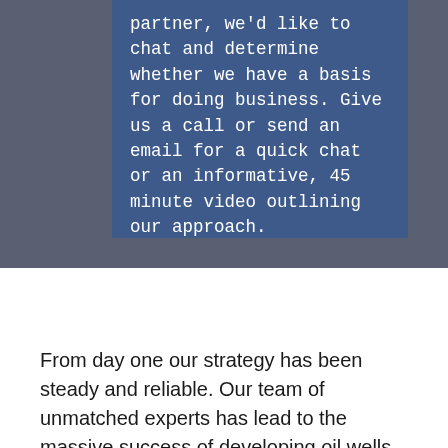partner, we'd like to chat and determine whether we have a basis for doing business. Give us a call or send an email for a quick chat or an informative, 45 minute video outlining our approach.
From day one our strategy has been steady and reliable. Our team of unmatched experts has lead to the massive success of developing oil wells in